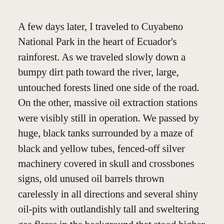A few days later, I traveled to Cuyabeno National Park in the heart of Ecuador's rainforest. As we traveled slowly down a bumpy dirt path toward the river, large, untouched forests lined one side of the road. On the other, massive oil extraction stations were visibly still in operation. We passed by huge, black tanks surrounded by a maze of black and yellow tubes, fenced-off silver machinery covered in skull and crossbones signs, old unused oil barrels thrown carelessly in all directions and several shiny oil-pits with outlandishly tall and sweltering gas flares in the background that stood higher than the hundreds of tall green trees directly next to them.
““Eventually, I think I could